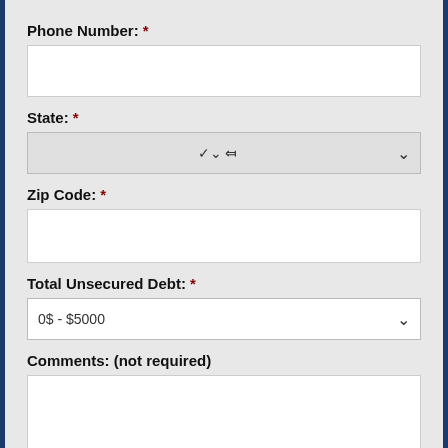Phone Number: *
State: *
Zip Code: *
Total Unsecured Debt: *
0$ - $5000
Comments: (not required)